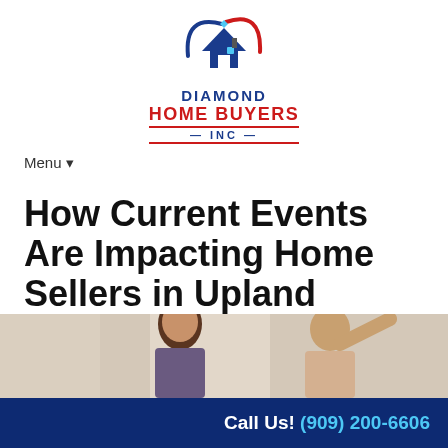[Figure (logo): Diamond Home Buyers Inc logo with a house icon and swoosh]
Menu ▾
How Current Events Are Impacting Home Sellers in Upland
July 23, 2020
By diamondhomebuyersinc
[Figure (photo): Photo of a woman with another person gesturing, interior background]
Call Us! (909) 200-6606